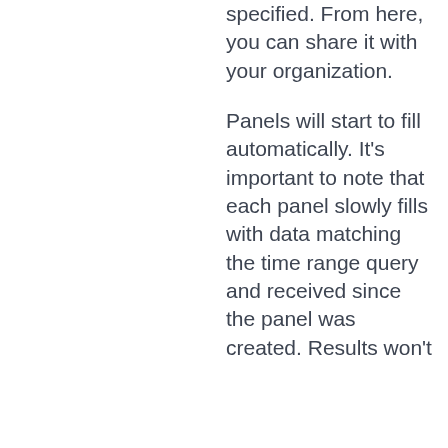specified. From here, you can share it with your organization.
Panels will start to fill automatically. It's important to note that each panel slowly fills with data matching the time range query and received since the panel was created. Results won't